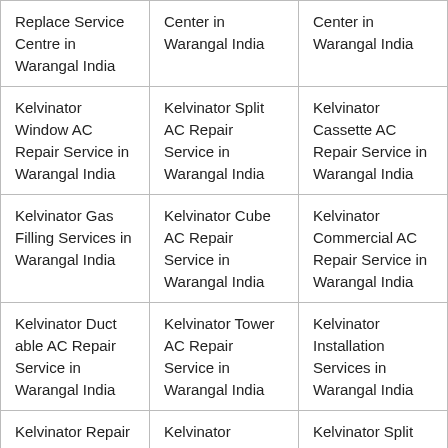| Replace Service Centre in Warangal India | Center in Warangal India | Center in Warangal India |
| Kelvinator Window AC Repair Service in Warangal India | Kelvinator Split AC Repair Service in Warangal India | Kelvinator Cassette AC Repair Service in Warangal India |
| Kelvinator Gas Filling Services in Warangal India | Kelvinator Cube AC Repair Service in Warangal India | Kelvinator Commercial AC Repair Service in Warangal India |
| Kelvinator Duct able AC Repair Service in Warangal India | Kelvinator Tower AC Repair Service in Warangal India | Kelvinator Installation Services in Warangal India |
| Kelvinator Repair Service Center in Warangal India | Kelvinator Window AC Repair Service Center in | Kelvinator Split AC Repair Service Center in |